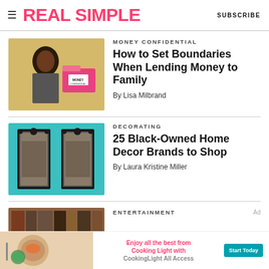REAL SIMPLE  SUBSCRIBE
MONEY CONFIDENTIAL
[Figure (photo): Woman smiling in front of a yellow background with a pink 'Money Confidential' folder]
How to Set Boundaries When Lending Money to Family
By Lisa Milbrand
DECORATING
[Figure (photo): Two decorative black iron room divider panels on a teal background]
25 Black-Owned Home Decor Brands to Shop
By Laura Kristine Miller
ENTERTAINMENT
[Figure (photo): Partial view of books on a shelf]
[Figure (infographic): Cooking Light All Access advertisement banner with food image and Start Today button]